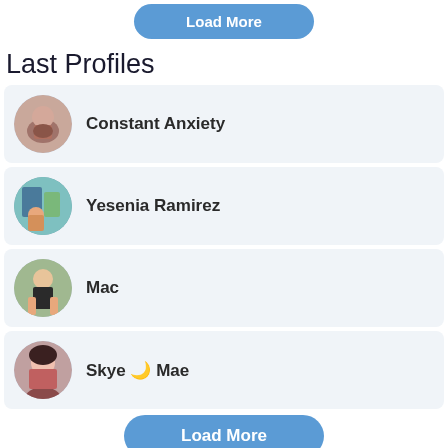[Figure (other): Load More button at top of page]
Last Profiles
Constant Anxiety
Yesenia Ramirez
Mac
Skye 🌙 Mae
[Figure (other): Load More button at bottom of page]